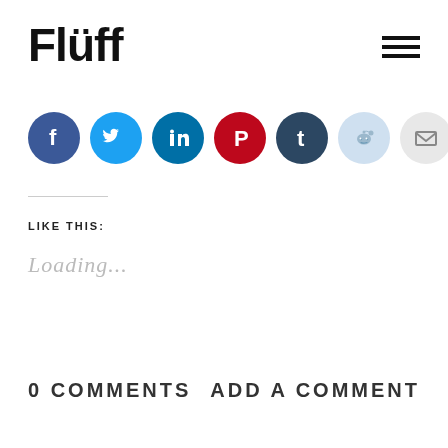Flüff
[Figure (infographic): Social media share icons: Facebook (blue), Twitter (light blue), LinkedIn (dark teal), Pinterest (red), Tumblr (dark blue-grey), Reddit (light blue), Email (grey)]
LIKE THIS:
Loading...
0 COMMENTS
ADD A COMMENT